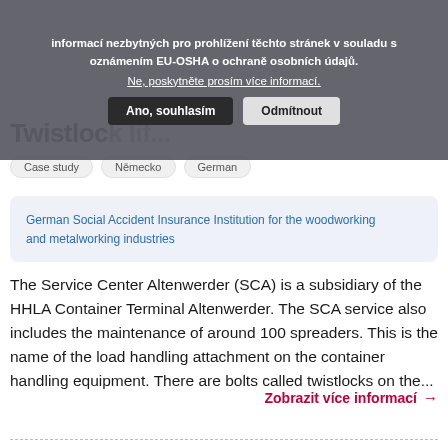informací nezbytných pro prohlížení těchto stránek v souladu s oznámením EU-OSHA o ochraně osobních údajů.
Ne, poskytněte prosím více informací.
Ano, souhlasím | Odmítnout
Twistlock lif...
Case study
Německo
German
German Social Accident Insurance Institution for the woodworking and metalworking industries
The Service Center Altenwerder (SCA) is a subsidiary of the HHLA Container Terminal Altenwerder. The SCA service also includes the maintenance of around 100 spreaders. This is the name of the load handling attachment on the container handling equipment. There are bolts called twistlocks on the...
Zobrazit více informací →